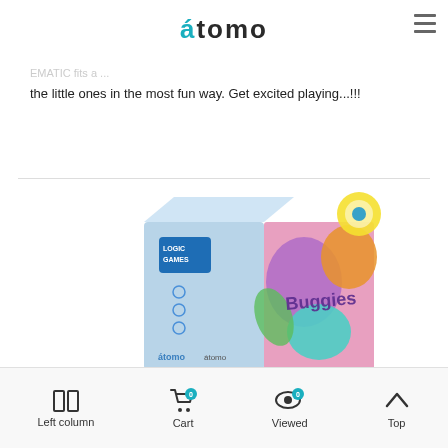átomo
€12.40
the little ones in the most fun way. Get excited playing...!!!
[Figure (photo): Product box for 'Buggies' board game by Logic Games / átomo, featuring colorful cartoon bug characters on a light blue box]
Left column   Cart 0   Viewed 0   Top